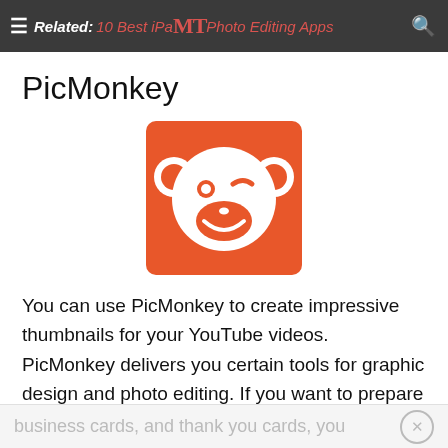Related: 10 Best iPad Photo Editing Apps
PicMonkey
[Figure (logo): PicMonkey orange square logo with white monkey face illustration]
You can use PicMonkey to create impressive thumbnails for your YouTube videos. PicMonkey delivers you certain tools for graphic design and photo editing. If you want to prepare wedding invitations,
business cards, and thank you cards, you can use the templates within the site for